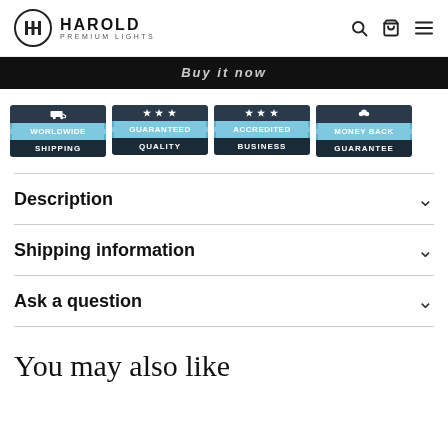HAROLD PREMIUM LIGHTS
[Figure (screenshot): Buy it now dark bar (partially visible)]
[Figure (infographic): Four trust badges: Worldwide Shipping, Guaranteed Quality, Accredited Business, Money Back Guarantee]
Description
Shipping information
Ask a question
You may also like